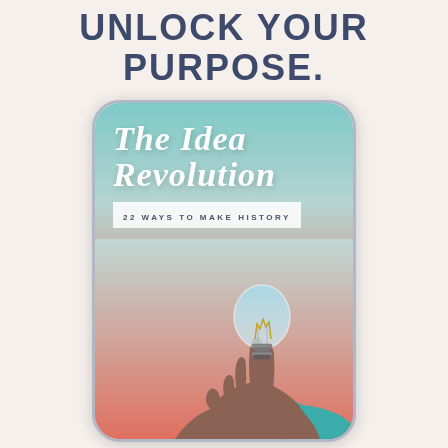UNLOCK YOUR PURPOSE.
[Figure (illustration): Smartphone/book frame showing cover of 'The Idea Revolution: 22 Ways to Make History' with a hand holding a light bulb against a teal-to-pink gradient background]